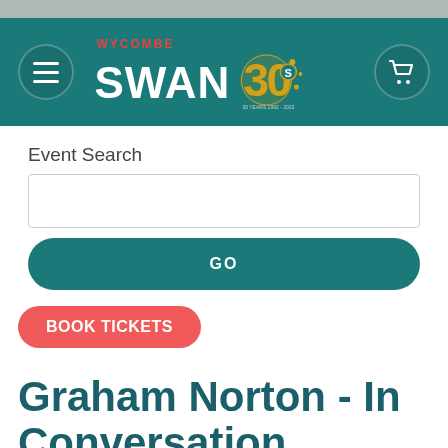[Figure (logo): Wycombe Swan 30th anniversary logo with hamburger menu and cart icon on teal header]
Event Search
[Figure (screenshot): Search input text box]
GO
BOOK TICKETS
Graham Norton - In Conversation